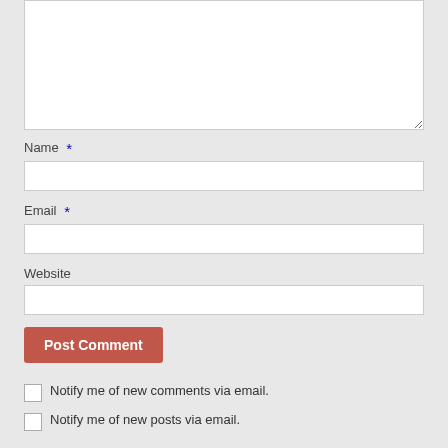[Figure (screenshot): Textarea input box (top portion cut off), white background with resize handle at bottom-right]
Name *
[Figure (screenshot): Name text input field, white background]
Email *
[Figure (screenshot): Email text input field, white background]
Website
[Figure (screenshot): Website text input field, white background]
[Figure (screenshot): Post Comment button, reddish-brown color]
Notify me of new comments via email.
Notify me of new posts via email.